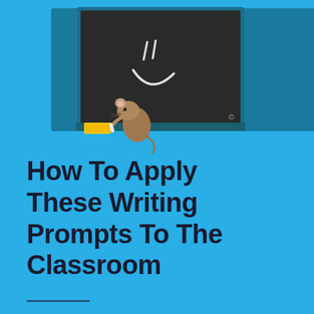[Figure (illustration): A cartoon mouse holding chalk standing on a blackboard ledge next to a yellow eraser, with chalk marks (a smiley face) on the dark chalkboard behind it. The scene is set against a bright blue background.]
How To Apply These Writing Prompts To The Classroom